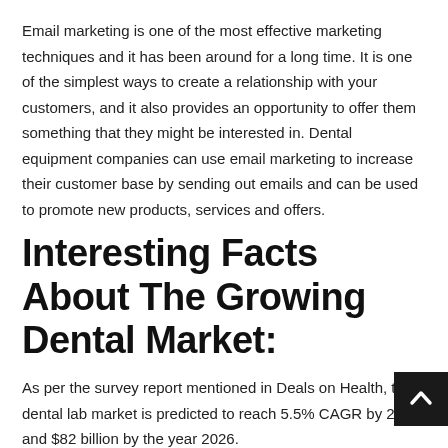Email marketing is one of the most effective marketing techniques and it has been around for a long time. It is one of the simplest ways to create a relationship with your customers, and it also provides an opportunity to offer them something that they might be interested in. Dental equipment companies can use email marketing to increase their customer base by sending out emails and can be used to promote new products, services and offers.
Interesting Facts About The Growing Dental Market:
As per the survey report mentioned in Deals on Health, the dental lab market is predicted to reach 5.5% CAGR by 2028 and $82 billion by the year 2026.
The dental industry is growing rapidly. Technology is being...